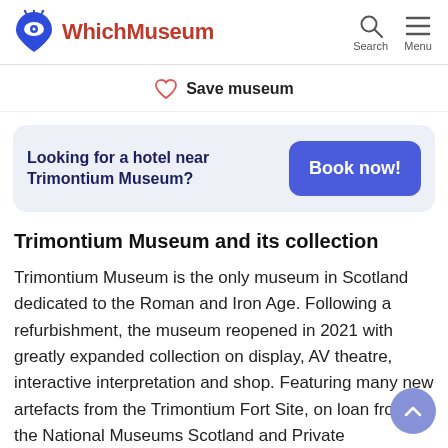WhichMuseum  Search  Menu
♡  Save museum
Looking for a hotel near Trimontium Museum?  Book now!
Trimontium Museum and its collection
Trimontium Museum is the only museum in Scotland dedicated to the Roman and Iron Age. Following a refurbishment, the museum reopened in 2021 with greatly expanded collection on display, AV theatre, interactive interpretation and shop. Featuring many new artefacts from the Trimontium Fort Site, on loan from the National Museums Scotland and Private